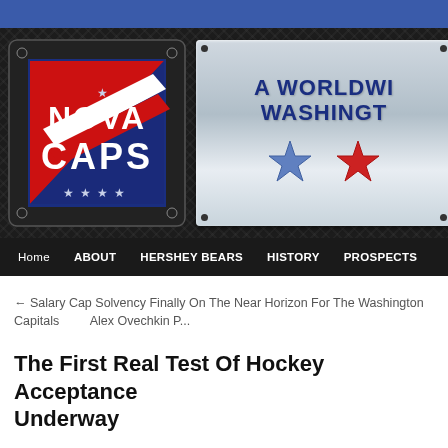[Figure (logo): NovaCaps blog banner with NovaCaps logo on left (red/white/navy diamond design with stars) and silver metallic plate on right reading 'A WORLDWI... WASHINGT...' with a navy star and red star, on dark diamond-plate background. Navigation bar below with: Home, ABOUT, HERSHEY BEARS, HISTORY, PROSPECTS]
← Salary Cap Solvency Finally On The Near Horizon For The Washington Capitals    Alex Ovechkin P...
The First Real Test Of Hockey Acceptance Underway
Posted on April 28, 2022 by Jon Sorensen